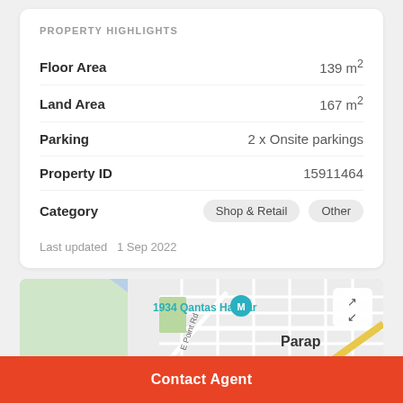PROPERTY HIGHLIGHTS
| Property | Value |
| --- | --- |
| Floor Area | 139 m² |
| Land Area | 167 m² |
| Parking | 2 x Onsite parkings |
| Property ID | 15911464 |
| Category | Shop & Retail  Other |
Last updated   1 Sep 2022
[Figure (map): Street map showing 1934 Qantas Hangar location near Parap, with E Point Rd visible and surrounding street grid.]
Contact Agent